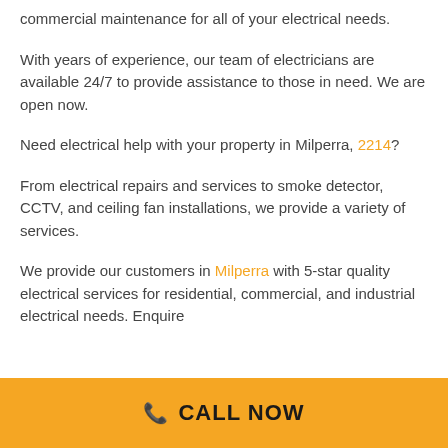commercial maintenance for all of your electrical needs.
With years of experience, our team of electricians are available 24/7 to provide assistance to those in need. We are open now.
Need electrical help with your property in Milperra, 2214?
From electrical repairs and services to smoke detector, CCTV, and ceiling fan installations, we provide a variety of services.
We provide our customers in Milperra with 5-star quality electrical services for residential, commercial, and industrial electrical needs. Enquire
📞 CALL NOW